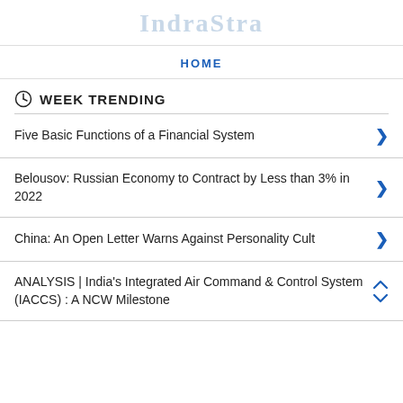IndraStra
HOME
WEEK TRENDING
Five Basic Functions of a Financial System
Belousov: Russian Economy to Contract by Less than 3% in 2022
China: An Open Letter Warns Against Personality Cult
ANALYSIS | India's Integrated Air Command & Control System (IACCS) : A NCW Milestone